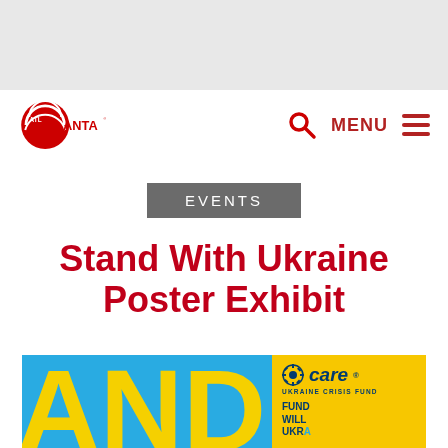[Figure (logo): Atlanta logo — red circle with concentric rings and 'ATL' text plus 'ANTA' wordmark]
MENU
EVENTS
Stand With Ukraine Poster Exhibit
[Figure (photo): Stand With Ukraine poster image — blue left panel with large yellow AND text and yellow right panel with CARE Ukraine Crisis Fund logo and fundraising text]